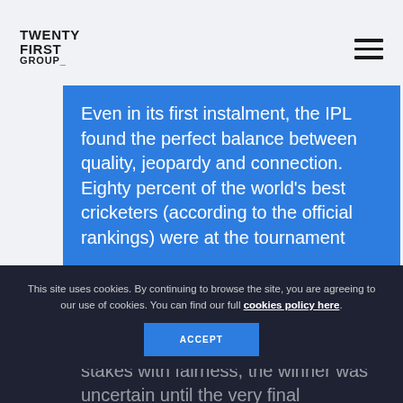TWENTY FIRST GROUP_
Even in its first instalment, the IPL found the perfect balance between quality, jeopardy and connection. Eighty percent of the world's best cricketers (according to the official rankings) were at the tournament (quality). Thanks to an egalitarian distribution of talent and a competition structure that balanced stakes with fairness, the winner was uncertain until the very final
This site uses cookies. By continuing to browse the site, you are agreeing to our use of cookies. You can find our full cookies policy here.
ACCEPT